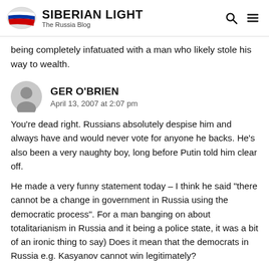SIBERIAN LIGHT — The Russia Blog
being completely infatuated with a man who likely stole his way to wealth.
GER O'BRIEN
April 13, 2007 at 2:07 pm
You're dead right. Russians absolutely despise him and always have and would never vote for anyone he backs. He's also been a very naughty boy, long before Putin told him clear off.
He made a very funny statement today – I think he said "there cannot be a change in government in Russia using the democratic process". For a man banging on about totalitarianism in Russia and it being a police state, it was a bit of an ironic thing to say) Does it mean that the democrats in Russia e.g. Kasyanov cannot win legitimately?